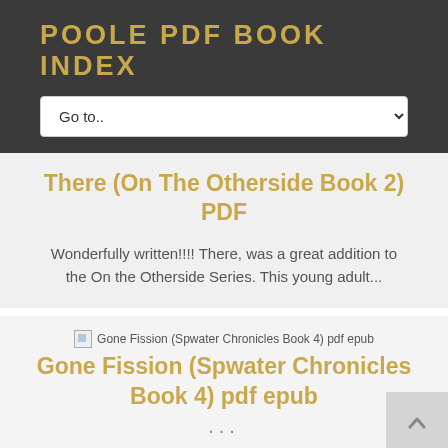POOLE PDF BOOK INDEX
Go to..
There (On The Otherside Book 2) PDF
Wonderfully written!!!! There, was a great addition to the On the Otherside Series. This young adult...
[Figure (other): Broken image placeholder for Gone Fission (Spwater Chronicles Book 4) pdf epub]
Gone Fission (Spwater Chronicles Book 4) pdf epub